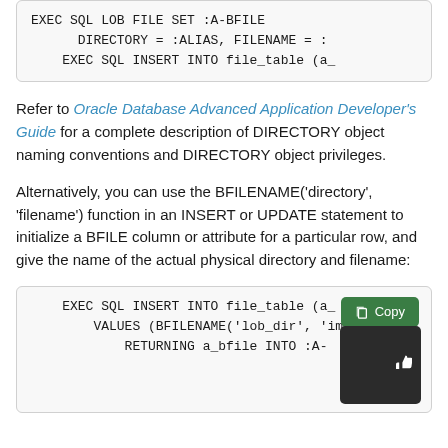[Figure (screenshot): Code block (partial, top) showing EXEC SQL LOB FILE SET :A-BFILE DIRECTORY = :ALIAS, FILENAME = : and EXEC SQL INSERT INTO file_table (a_]
Refer to Oracle Database Advanced Application Developer's Guide for a complete description of DIRECTORY object naming conventions and DIRECTORY object privileges.
Alternatively, you can use the BFILENAME('directory', 'filename') function in an INSERT or UPDATE statement to initialize a BFILE column or attribute for a particular row, and give the name of the actual physical directory and filename:
[Figure (screenshot): Code block showing EXEC SQL INSERT INTO fi...a_ VALUES (BFILENAME('lob_dir', 'im RETURNING a_bfile INTO :A- with Copy and thumbs-up overlay buttons]